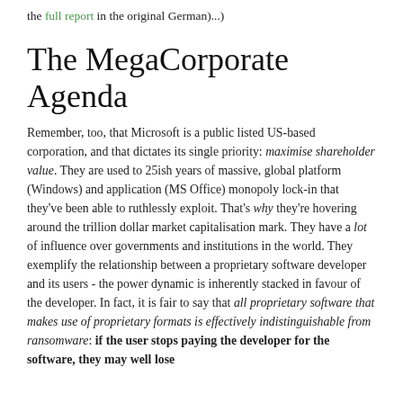the full report in the original German)...)
The MegaCorporate Agenda
Remember, too, that Microsoft is a public listed US-based corporation, and that dictates its single priority: maximise shareholder value. They are used to 25ish years of massive, global platform (Windows) and application (MS Office) monopoly lock-in that they've been able to ruthlessly exploit. That's why they're hovering around the trillion dollar market capitalisation mark. They have a lot of influence over governments and institutions in the world. They exemplify the relationship between a proprietary software developer and its users - the power dynamic is inherently stacked in favour of the developer. In fact, it is fair to say that all proprietary software that makes use of proprietary formats is effectively indistinguishable from ransomware: if the user stops paying the developer for the software, they may well lose